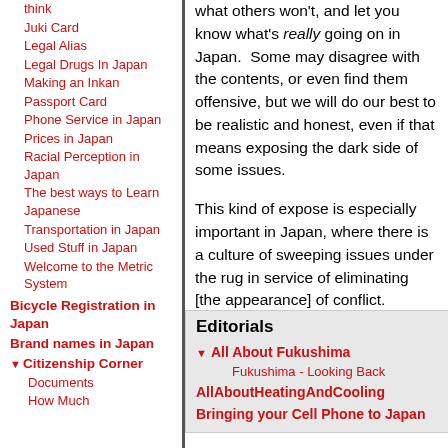think
Juki Card
Legal Alias
Legal Drugs In Japan
Making an Inkan
Passport Card
Phone Service in Japan
Prices in Japan
Racial Perception in Japan
The best ways to Learn Japanese
Transportation in Japan
Used Stuff in Japan
Welcome to the Metric System
Bicycle Registration in Japan
Brand names in Japan
Citizenship Corner
Documents
How Much
what others won't, and let you know what's really going on in Japan.  Some may disagree with the contents, or even find them offensive, but we will do our best to be realistic and honest, even if that means exposing the dark side of some issues.
This kind of expose is especially important in Japan, where there is a culture of sweeping issues under the rug in service of eliminating [the appearance] of conflict.
Furthermore, presenting this kind of information in English is even more important, since while Japanese people
Editorials
All About Fukushima
Fukushima - Looking Back
AllAboutHeatingAndCooling
Bringing your Cell Phone to Japan